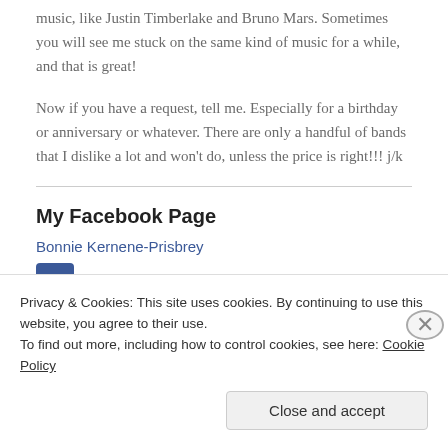music, like Justin Timberlake and Bruno Mars. Sometimes you will see me stuck on the same kind of music for a while, and that is great!
Now if you have a request, tell me. Especially for a birthday or anniversary or whatever. There are only a handful of bands that I dislike a lot and won't do, unless the price is right!!! j/k
My Facebook Page
Bonnie Kernene-Prisbrey
Privacy & Cookies: This site uses cookies. By continuing to use this website, you agree to their use.
To find out more, including how to control cookies, see here: Cookie Policy
Close and accept